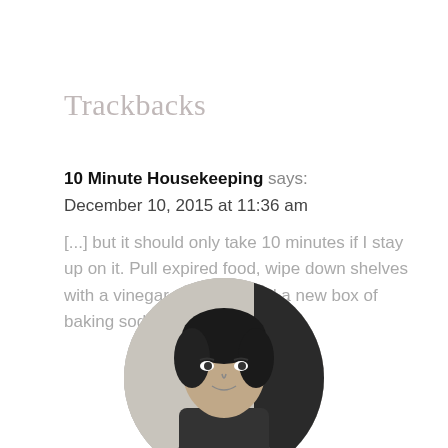Trackbacks
10 Minute Housekeeping says:
December 10, 2015 at 11:36 am
[...] but it should only take 10 minutes if I stay up on it. Pull expired food, wipe down shelves with a vinegar rinse and add a new box of baking soda to keep things [...]
[Figure (photo): Circular black and white portrait photo of a woman]